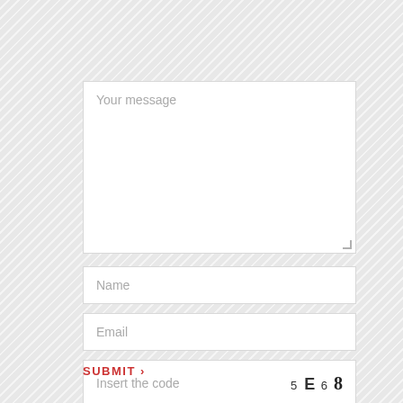we want to hear from you
Your message
Name
Email
Insert the code
5 E 6 8
SUBMIT ›